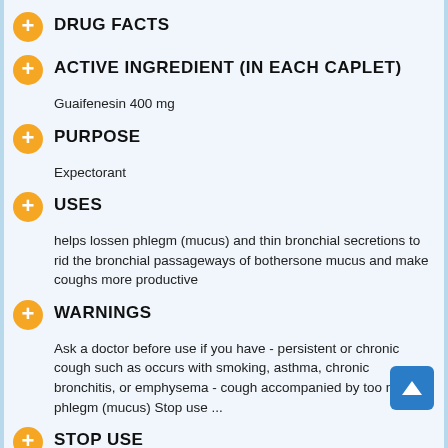DRUG FACTS
ACTIVE INGREDIENT (IN EACH CAPLET)
Guaifenesin 400 mg
PURPOSE
Expectorant
USES
helps lossen phlegm (mucus) and thin bronchial secretions to rid the bronchial passageways of bothersone mucus and make coughs more productive
WARNINGS
Ask a doctor before use if you have - persistent or chronic cough such as occurs with smoking, asthma, chronic bronchitis, or emphysema - cough accompanied by too much phlegm (mucus) Stop use ...
STOP USE
Stop use and ask a doctor if cough lasts more than 7 days, comes back, or is accompanied by fever, rash, or persistent headache. these could be signs of a serious illness.
PREGNANCY OR BREAST FEEDING